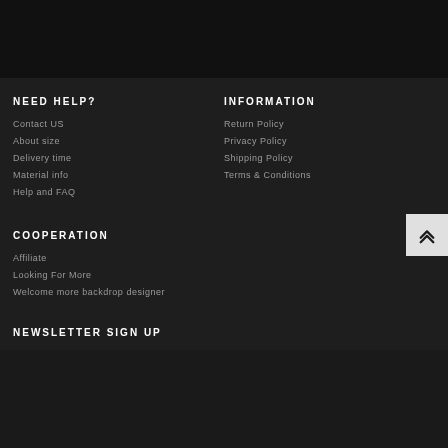NEED HELP?
Contact US
About size
Delivery time
Material info
Help and FAQ
INFORMATION
Return Policy
Privacy Policy
Shipping Policy
Terms & Conditions
COOPERATION
Affiliate
Looking For More
Welcome more backdrop designer
NEWSLETTER SIGN UP